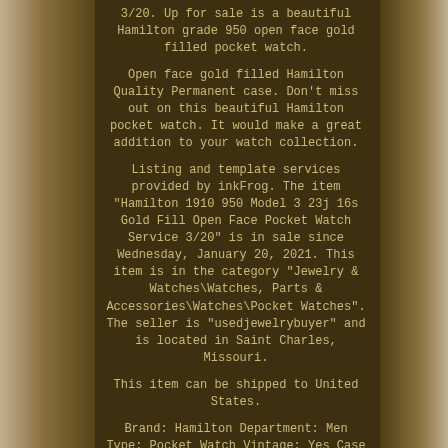3/20. Up for sale is a beautiful Hamilton grade 950 open face gold filled pocket watch.
Open face gold filled Hamilton Quality Permanent case. Don't miss out on this beautiful Hamilton pocket watch. It would make a great addition to your watch collection.
Listing and template services provided by inkFrog. The item "Hamilton 1910 950 Model 3 23j 16s Gold Fill Open Face Pocket Watch Service 3/20" is in sale since Wednesday, January 20, 2021. This item is in the category "Jewelry & Watches\Watches, Parts & Accessories\Watches\Pocket Watches". The seller is "usedjewelrybuyer" and is located in Saint Charles, Missouri.
This item can be shipped to United States.
Brand: Hamilton Department: Men Type: Pocket Watch Vintage: Yes Case Material: Gold Filled Dial Color: White Year Manufactured: 1910 Movement: